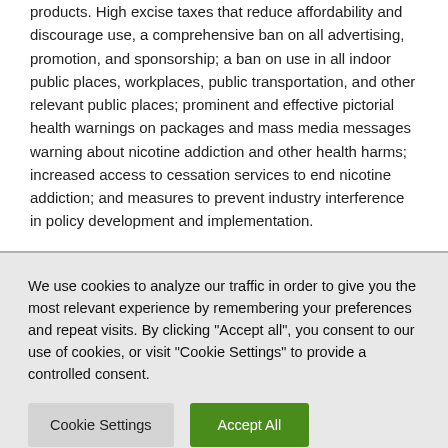products. High excise taxes that reduce affordability and discourage use, a comprehensive ban on all advertising, promotion, and sponsorship; a ban on use in all indoor public places, workplaces, public transportation, and other relevant public places; prominent and effective pictorial health warnings on packages and mass media messages warning about nicotine addiction and other health harms; increased access to cessation services to end nicotine addiction; and measures to prevent industry interference in policy development and implementation.
We use cookies to analyze our traffic in order to give you the most relevant experience by remembering your preferences and repeat visits. By clicking "Accept all", you consent to our use of cookies, or visit "Cookie Settings" to provide a controlled consent.
Cookie Settings
Accept All